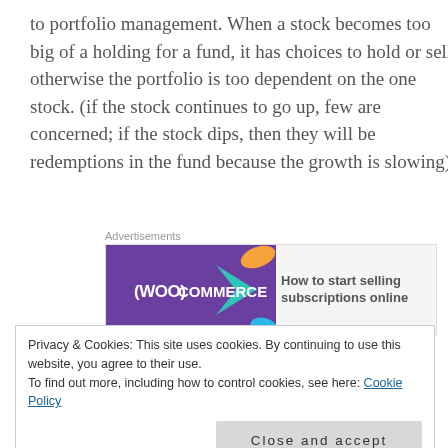to portfolio management. When a stock becomes too big of a holding for a fund, it has choices to hold or sell, otherwise the portfolio is too dependent on the one stock. (if the stock continues to go up, few are concerned; if the stock dips, then they will be redemptions in the fund because the growth is slowing).
[Figure (other): WooCommerce advertisement banner: 'How to start selling subscriptions online']
The Ark fund saw its assets under administration rise
Privacy & Cookies: This site uses cookies. By continuing to use this website, you agree to their use.
To find out more, including how to control cookies, see here: Cookie Policy
given some stocks trade on the exchanges if you own an